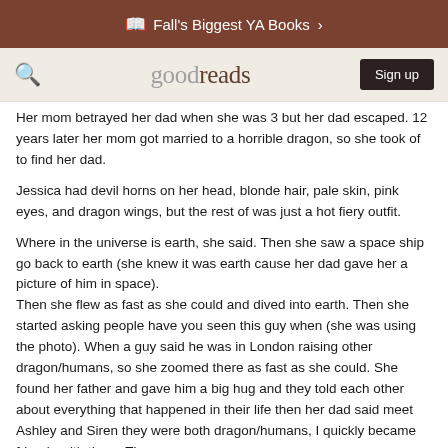Fall's Biggest YA Books
goodreads   Sign up
Her mom betrayed her dad when she was 3 but her dad escaped. 12 years later her mom got married to a horrible dragon, so she took of to find her dad.
Jessica had devil horns on her head, blonde hair, pale skin, pink eyes, and dragon wings, but the rest of was just a hot fiery outfit.
Where in the universe is earth, she said. Then she saw a space ship go back to earth (she knew it was earth cause her dad gave her a picture of him in space).
Then she flew as fast as she could and dived into earth. Then she started asking people have you seen this guy when (she was using the photo). When a guy said he was in London raising other dragon/humans, so she zoomed there as fast as she could. She found her father and gave him a big hug and they told each other about everything that happened in their life then her dad said meet Ashley and Siren they were both dragon/humans, I quickly became friends with them. They